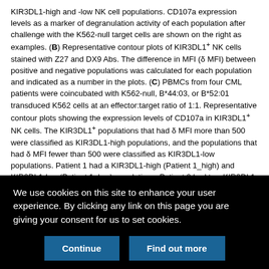KIR3DL1-high and -low NK cell populations. CD107a expression levels as a marker of degranulation activity of each population after challenge with the K562-null target cells are shown on the right as examples. (B) Representative contour plots of KIR3DL1+ NK cells stained with Z27 and DX9 Abs. The difference in MFI (δ MFI) between positive and negative populations was calculated for each population and indicated as a number in the plots. (C) PBMCs from four CML patients were coincubated with K562-null, B*44:03, or B*52:01 transduced K562 cells at an effector:target ratio of 1:1. Representative contour plots showing the expression levels of CD107a in KIR3DL1+ NK cells. The KIR3DL1+ populations that had δ MFI more than 500 were classified as KIR3DL1-high populations, and the populations that had δ MFI fewer than 500 were classified as KIR3DL1-low populations. Patient 1 had a KIR3DL1-high (Patient 1_high) and KIR3DL1-low (Patient 1_low) populations. Patient 2 had two KIR3DL1-low populations, which are indicated as Patient 2_low1 (the δ MFI is 171) and Patient 2_low2 (the δ MFI is 362). (D) The percentages of CD107a+ cells among high and low KIR3DL1+ NK cells are presented as the mean value of triplicate samples. Patient 2_1 and Patient 2_2 refer to the Patient 2_low 1 population and Patient 2_low2 population, respectively. Error bars show the SEM. *p < 0.05.
We use cookies on this site to enhance your user experience. By clicking any link on this page you are giving your consent for us to set cookies.